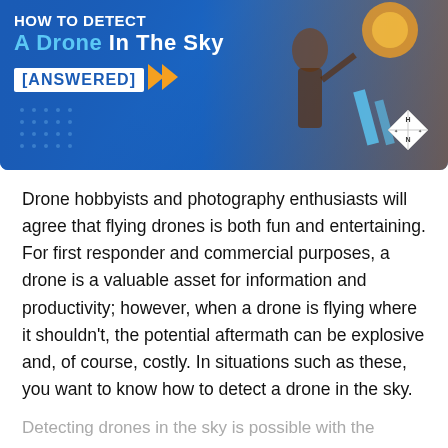[Figure (infographic): Banner image with blue background showing a person silhouetted against a sunset sky holding a drone controller. Text overlay reads 'How To Detect A Drone In The Sky [ANSWERED]' with chevron arrows. A small diamond logo with H and N letters appears bottom right.]
Drone hobbyists and photography enthusiasts will agree that flying drones is both fun and entertaining. For first responder and commercial purposes, a drone is a valuable asset for information and productivity; however, when a drone is flying where it shouldn't, the potential aftermath can be explosive and, of course, costly. In situations such as these, you want to know how to detect a drone in the sky.
Detecting drones in the sky is possible with the